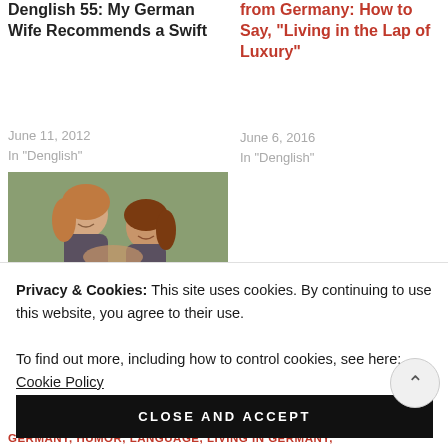Denglish 55: My German Wife Recommends a Swift
June 11, 2012
In "Denglish"
[Figure (photo): Two young women hugging outdoors, smiling, with green bokeh background]
German Expressions: How to Describe a
from Germany: How to Say, “Living in the Lap of Luxury”
June 6, 2016
In "Denglish"
Privacy & Cookies: This site uses cookies. By continuing to use this website, you agree to their use.
To find out more, including how to control cookies, see here: Cookie Policy
CLOSE AND ACCEPT
GERMANY, HUMOR, LANGUAGE, LIVING IN GERMANY,